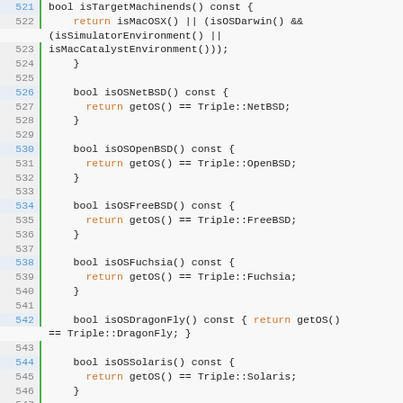[Figure (screenshot): Source code viewer showing C++ code lines 521-552 with syntax highlighting. Line numbers on left with green border, keywords in orange, default code in dark color.]